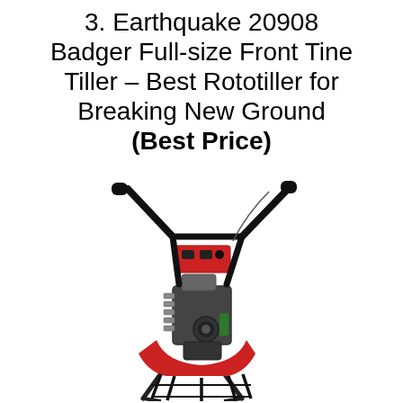3. Earthquake 20908 Badger Full-size Front Tine Tiller – Best Rototiller for Breaking New Ground (Best Price)
[Figure (photo): Photograph of the Earthquake 20908 Badger Full-size Front Tine Tiller on a white background. The tiller has a black metal frame with red accents, a small gasoline engine in the center, curved handlebar extending upward to the right with a black grip, and front tines at the bottom with a red shield/guard.]